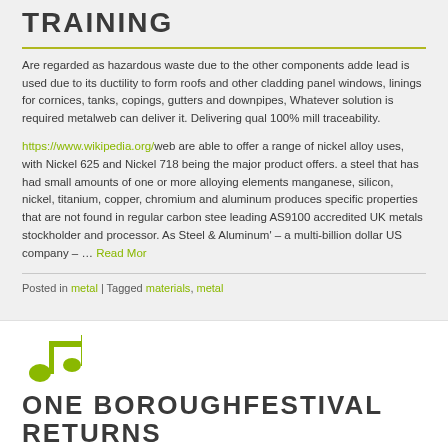TRAINING
Are regarded as hazardous waste due to the other components added lead is used due to its ductility to form roofs and other cladding panels, windows, linings for cornices, tanks, copings, gutters and downpipes, Whatever solution is required metalweb can deliver it. Delivering quality 100% mill traceability.
https://www.wikipedia.org/web are able to offer a range of nickel alloy uses, with Nickel 625 and Nickel 718 being the major product offers. a steel that has had small amounts of one or more alloying elements manganese, silicon, nickel, titanium, copper, chromium and aluminum produces specific properties that are not found in regular carbon steel. leading AS9100 accredited UK metals stockholder and processor. As Steel & Aluminum' – a multi-billion dollar US company – … Read More
Posted in metal | Tagged materials, metal
ONE BOROUGHFESTIVAL RETURNS